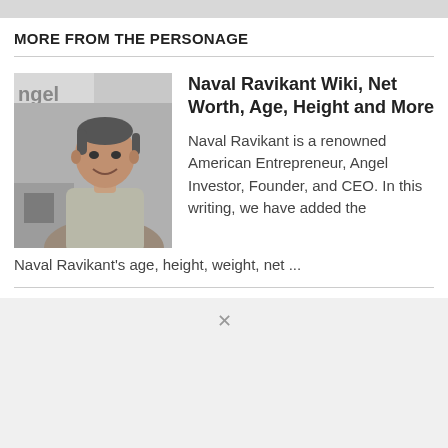MORE FROM THE PERSONAGE
[Figure (photo): Photo of Naval Ravikant, a man in a grey hoodie, standing in front of an AngelList sign/office background, smiling at the camera.]
Naval Ravikant Wiki, Net Worth, Age, Height and More
Naval Ravikant is a renowned American Entrepreneur, Angel Investor, Founder, and CEO. In this writing, we have added the Naval Ravikant's age, height, weight, net ...